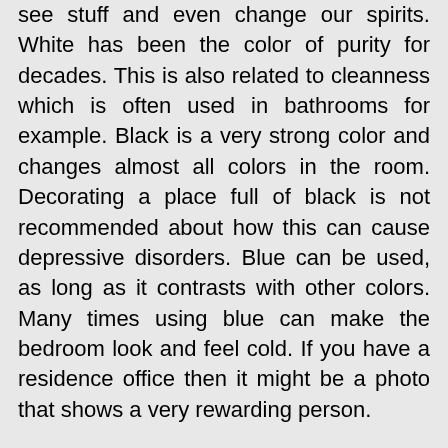see stuff and even change our spirits. White has been the color of purity for decades. This is also related to cleanness which is often used in bathrooms for example. Black is a very strong color and changes almost all colors in the room. Decorating a place full of black is not recommended about how this can cause depressive disorders. Blue can be used, as long as it contrasts with other colors. Many times using blue can make the bedroom look and feel cold. If you have a residence office then it might be a photo that shows a very rewarding person.

Each one home's color needs make it easy for everyone to enjoy comfort and get rid of burdens and places for you to rejoice. This place is really a family room. If you need a living place decoration, start with the help of all